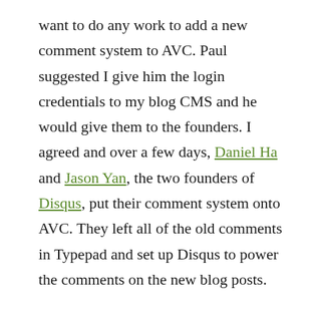want to do any work to add a new comment system to AVC. Paul suggested I give him the login credentials to my blog CMS and he would give them to the founders. I agreed and over a few days, Daniel Ha and Jason Yan, the two founders of Disqus, put their comment system onto AVC. They left all of the old comments in Typepad and set up Disqus to power the comments on the new blog posts.
I showed up at Demo Day excited to see all of the companies (19 that day) present. When it came time for Disqus to present Daniel got up on stage, explained that the current comment systems were